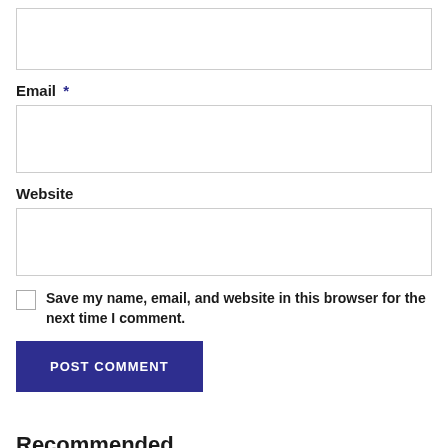[Name input field - empty]
Email *
[Email input field - empty]
Website
[Website input field - empty]
Save my name, email, and website in this browser for the next time I comment.
POST COMMENT
Recommended
Align your project with government's plan